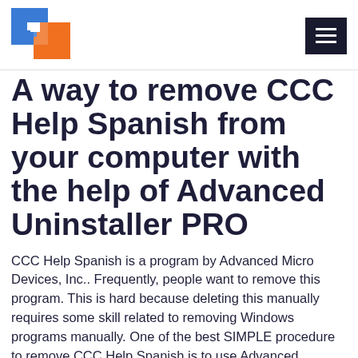[Figure (logo): Software informer / Advanced Uninstaller PRO logo consisting of blue and orange overlapping squares with letter C shape]
A way to remove CCC Help Spanish from your computer with the help of Advanced Uninstaller PRO
CCC Help Spanish is a program by Advanced Micro Devices, Inc.. Frequently, people want to remove this program. This is hard because deleting this manually requires some skill related to removing Windows programs manually. One of the best SIMPLE procedure to remove CCC Help Spanish is to use Advanced Uninstaller PRO. Here are some